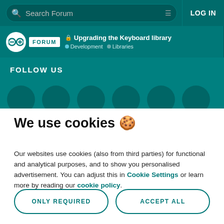Search Forum  LOG IN
Upgrading the Keyboard library
Development  Libraries
FOLLOW US
We use cookies 🍪
Our websites use cookies (also from third parties) for functional and analytical purposes, and to show you personalised advertisement. You can adjust this in Cookie Settings or learn more by reading our cookie policy.
ONLY REQUIRED
ACCEPT ALL